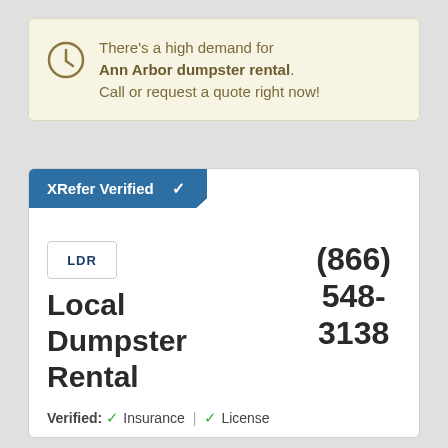There's a high demand for Ann Arbor dumpster rental. Call or request a quote right now!
XRefer Verified ✓
[Figure (logo): LDR company logo in a bordered box]
(866) 548-3138
Local Dumpster Rental
Verified: ✓ Insurance | ✓ License
Serving: Plymouth, Wixom, Walled Lake, Gregory and throughout Ann Arbor.
Specializing in: ...